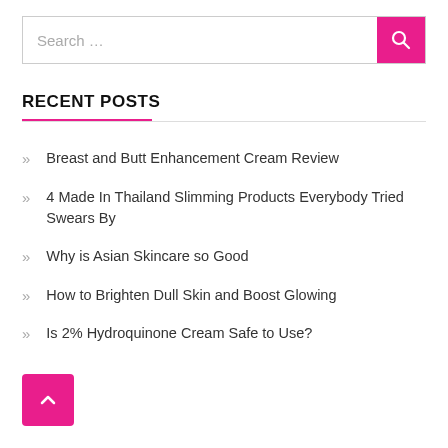[Figure (other): Search bar with text 'Search ...' and a pink search button with magnifying glass icon]
RECENT POSTS
Breast and Butt Enhancement Cream Review
4 Made In Thailand Slimming Products Everybody Tried Swears By
Why is Asian Skincare so Good
How to Brighten Dull Skin and Boost Glowing
Is 2% Hydroquinone Cream Safe to Use?
[Figure (other): Pink back-to-top button with upward chevron arrow]